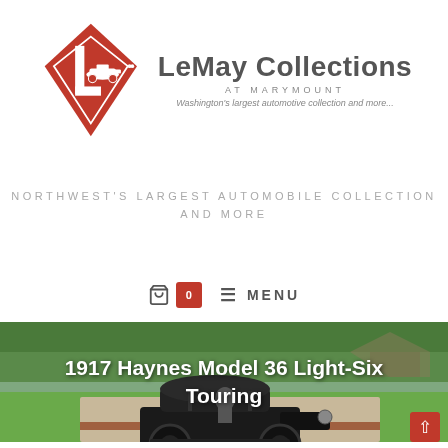[Figure (logo): LeMay Collections at Marymount logo: red diamond/rhombus shape with vintage car silhouette and letter L, next to text 'LeMay Collections AT MARYMOUNT Washington's largest automotive collection and more...']
NORTHWEST'S LARGEST AUTOMOBILE COLLECTION AND MORE
[Figure (screenshot): Navigation bar with shopping cart icon, red badge showing 0, hamburger menu icon and MENU text]
[Figure (photo): Photo of a 1917 Haynes Model 36 Light-Six Touring automobile parked on a driveway with green hedges and trees in the background]
1917 Haynes Model 36 Light-Six Touring